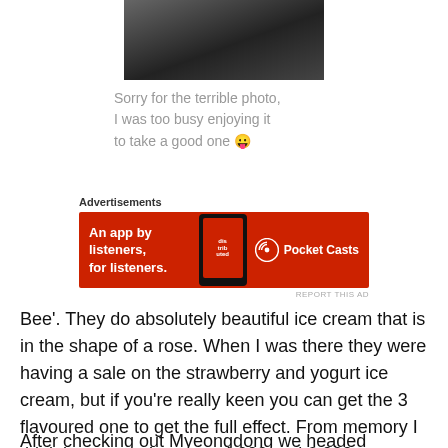[Figure (photo): Cropped dark photo at top center, partially cut off]
Sorry for the terrible photo, I was too busy enjoying it to take a good one 😛
[Figure (other): Advertisement banner: 'An app by listeners, for listeners.' Pocket Casts app ad with red background and phone image]
Bee'. They do absolutely beautiful ice cream that is in the shape of a rose. When I was there they were having a sale on the strawberry and yogurt ice cream, but if you're really keen you can get the 3 flavoured one to get the full effect. From memory I think it can cost between 4,000 and 6,000 won.
After checking out Myeongdong we headed towards N